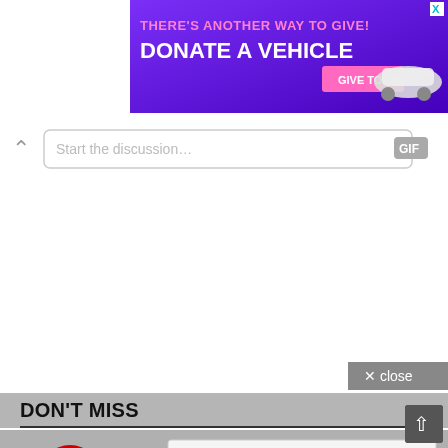[Figure (screenshot): Purple advertisement banner: 'THERE'S ANOTHER WAY TO GIVE! DONATE A VEHICLE' with a pink 'GIVE TODAY' button and a white car image, with an X close button in the top right corner]
[Figure (screenshot): Comment input bar with a caret-up arrow on the left, a text input field reading 'Start the discussion...' and a GIF button on the right]
[Figure (screenshot): Gray 'x close' button in the upper right]
DON'T MISS
[Figure (screenshot): Thumbnail image showing a BuzzFeed logo (red circle with white arrow), a book icon, and a preview of 'free' courses with Google Drive links, MEGA and Google Drive logos, colorful chain links, and text 'Google Drive Useful Links']
[Figure (screenshot): Scroll-to-top button (upward arrow) in bottom right corner]